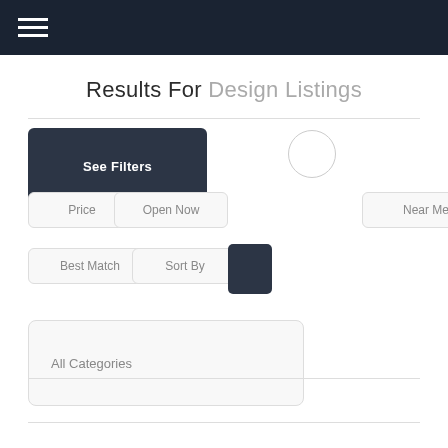[Figure (screenshot): Dark top navigation bar with hamburger menu icon (three horizontal white lines)]
Results For Design Listings
See Filters
Price
Open Now
Near Me
Best Match
Sort By
All Categories